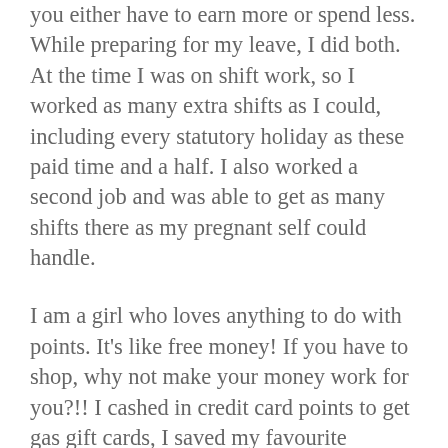you either have to earn more or spend less.  While preparing for my leave, I did both.  At the time I was on shift work, so I worked as many extra shifts as I could, including every statutory holiday as these paid time and a half.  I also worked a second job and was able to get as many shifts there as my pregnant self could handle.
I am a girl who loves anything to do with points.  It's like free money!  If you have to shop, why not make your money work for you?!!  I cashed in credit card points to get gas gift cards, I saved my favourite pharmacy points for makeup and toiletries, and I hoarded every gift card I received during my pregnancy.  This helped out more than I anticipated and I would do it again in a heartbeat - especially the gas gift cards.
Now, was it all glorious?  Was my budget accurate?  Of course not … My air conditioner broke, and so did my car, fridge, and furnace - all around the